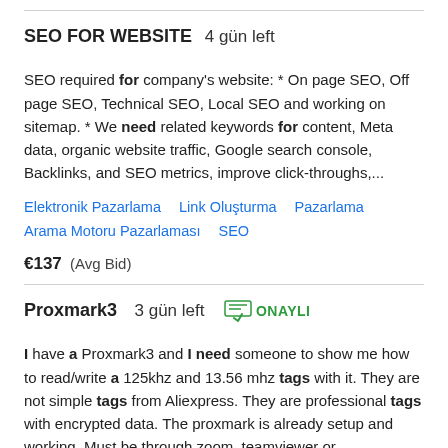SEO FOR WEBSITE   4 gün left
SEO required for company's website: * On page SEO, Off page SEO, Technical SEO, Local SEO and working on sitemap. * We need related keywords for content, Meta data, organic website traffic, Google search console, Backlinks, and SEO metrics, improve click-throughs,...
Elektronik Pazarlama   Link Oluşturma   Pazarlama   Arama Motoru Pazarlaması   SEO
€137  (Avg Bid)
Proxmark3   3 gün left   ONAYLI
I have a Proxmark3 and I need someone to show me how to read/write a 125khz and 13.56 mhz tags with it. They are not simple tags from Aliexpress. They are professional tags with encrypted data. The proxmark is already setup and working. Must be through zoom, teamviewer or...